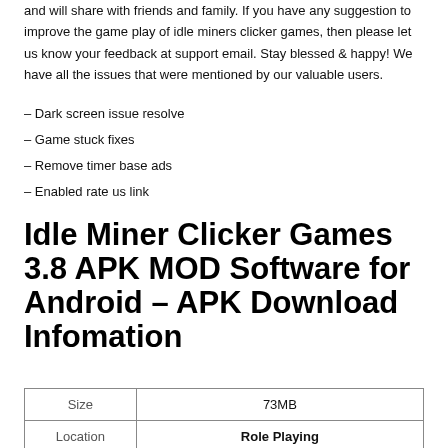and will share with friends and family. If you have any suggestion to improve the game play of idle miners clicker games, then please let us know your feedback at support email. Stay blessed & happy! We have all the issues that were mentioned by our valuable users.
– Dark screen issue resolve
– Game stuck fixes
– Remove timer base ads
– Enabled rate us link
Idle Miner Clicker Games 3.8 APK MOD Software for Android – APK Download Infomation
| Size | 73MB | Location | Role Playing |
| --- | --- | --- | --- |
| Size | 73MB |
| Location | Role Playing |